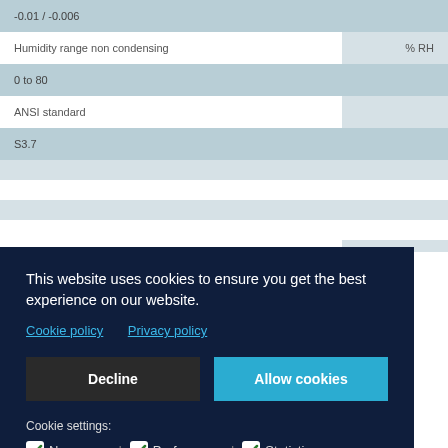| Parameter | Unit |
| --- | --- |
| -0.01 / -0.006 |  |
| Humidity range non condensing | % RH |
| 0 to 80 |  |
| ANSI standard |  |
| S3.7 |  |
|  |  |
This website uses cookies to ensure you get the best experience on our website.
Cookie policy   Privacy policy
Decline   Allow cookies
Cookie settings:
✓ Necessary | ✓ Preferences | ✓ Statistics